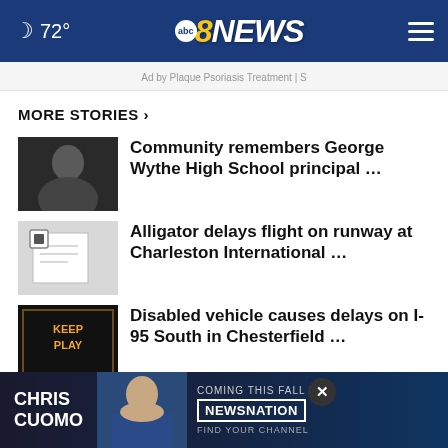72° abc8NEWS
Ad by Plaque Psoriasis Treatment | S
MORE STORIES ›
Community remembers George Wythe High School principal …
Alligator delays flight on runway at Charleston International …
Disabled vehicle causes delays on I-95 South in Chesterfield …
StormTracker8: Hot, humid, and hazy start to the
[Figure (screenshot): Bottom advertisement banner: CHRIS CUOMO COMING THIS FALL TO NEWSNATION FIND YOUR CHANNEL]